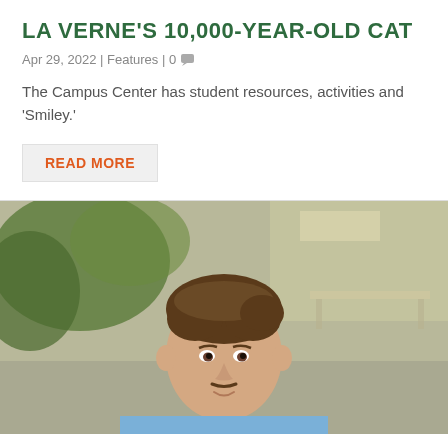LA VERNE'S 10,000-YEAR-OLD CAT
Apr 29, 2022 | Features | 0
The Campus Center has student resources, activities and 'Smiley.'
READ MORE
[Figure (photo): Portrait photo of a young man with brown hair and a mustache, wearing a light blue polo shirt, photographed outdoors with green foliage and a building in the blurred background.]